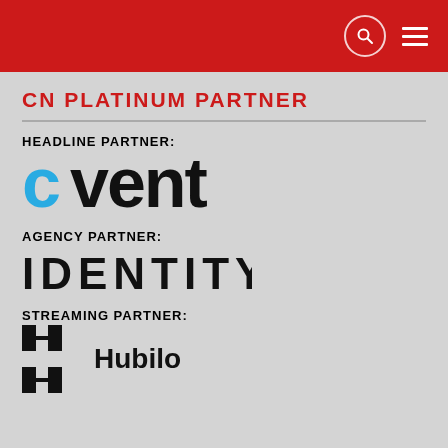CN PLATINUM PARTNER - navigation bar with search and menu icons
CN PLATINUM PARTNER
HEADLINE PARTNER:
[Figure (logo): Cvent logo - letter c in cyan/blue followed by 'vent' in black, large bold text]
AGENCY PARTNER:
[Figure (logo): IDENTITY logo in large bold black uppercase letters with wide letter spacing]
STREAMING PARTNER:
[Figure (logo): Hubilo logo - H-shaped icon on the left and 'Hubilo' text in bold black on the right]